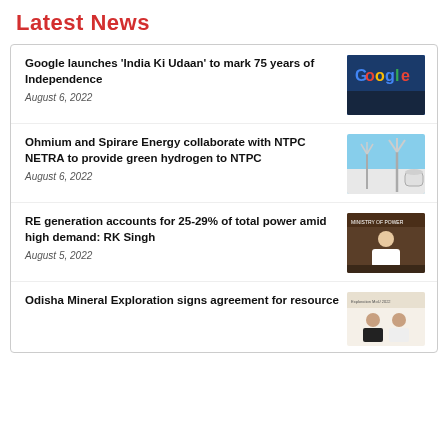Latest News
Google launches ‘India Ki Udaan’ to mark 75 years of Independence
August 6, 2022
[Figure (photo): Google logo on a building exterior]
Ohmium and Spirare Energy collaborate with NTPC NETRA to provide green hydrogen to NTPC
August 6, 2022
[Figure (photo): Wind turbines and industrial equipment related to green hydrogen]
RE generation accounts for 25-29% of total power amid high demand: RK Singh
August 5, 2022
[Figure (photo): Man seated at Ministry of Power desk]
Odisha Mineral Exploration signs agreement for resource
[Figure (photo): Two people at a signing event]